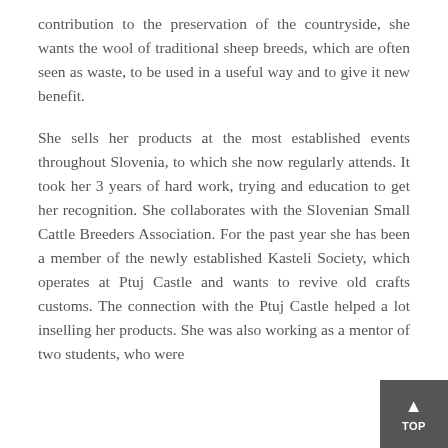contribution to the preservation of the countryside, she wants the wool of traditional sheep breeds, which are often seen as waste, to be used in a useful way and to give it new benefit.

She sells her products at the most established events throughout Slovenia, to which she now regularly attends. It took her 3 years of hard work, trying and education to get her recognition. She collaborates with the Slovenian Small Cattle Breeders Association. For the past year she has been a member of the newly established Kasteli Society, which operates at Ptuj Castle and wants to revive old crafts customs. The connection with the Ptuj Castle helped a lot inselling her products. She was also working as a mentor of two students, who were